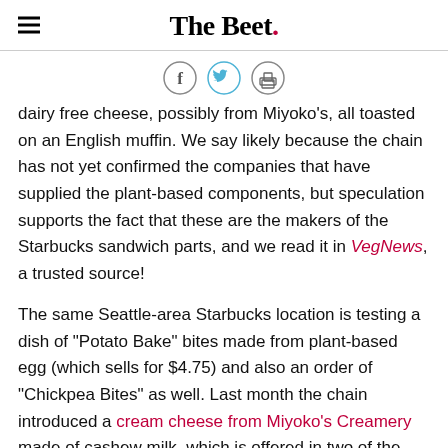The Beet.
[Figure (infographic): Social sharing icons: Facebook, Twitter, Print]
dairy free cheese, possibly from Miyoko's, all toasted on an English muffin. We say likely because the chain has not yet confirmed the companies that have supplied the plant-based components, but speculation supports the fact that these are the makers of the Starbucks sandwich parts, and we read it in VegNews, a trusted source!
The same Seattle-area Starbucks location is testing a dish of "Potato Bake" bites made from plant-based egg (which sells for $4.75) and also an order of "Chickpea Bites" as well. Last month the chain introduced a cream cheese from Miyoko's Creamery made of cashew milk, which is offered in two of the brand's signature flavors: Everything and Cinnamon